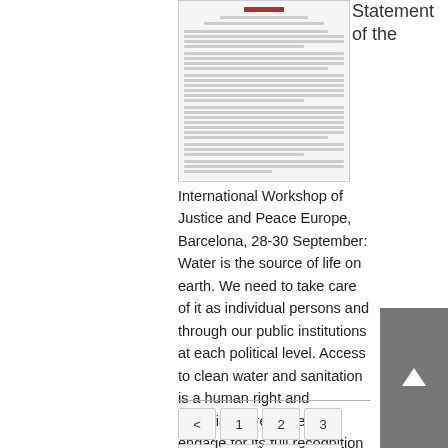[Figure (screenshot): Thumbnail of a document page showing a header in red and dense text lines below]
Statement of the International Workshop of Justice and Peace Europe, Barcelona, 28-30 September: Water is the source of life on earth. We need to take care of it as individual persons and through our public institutions at each political level. Access to clean water and sanitation is a human right and Christians are invited to engage for its full recognition by states and international organisations
[Figure (other): Pagination navigation with buttons: <, 1, 2, 3, 4, 5, 6, 7, 8, 9, 10]